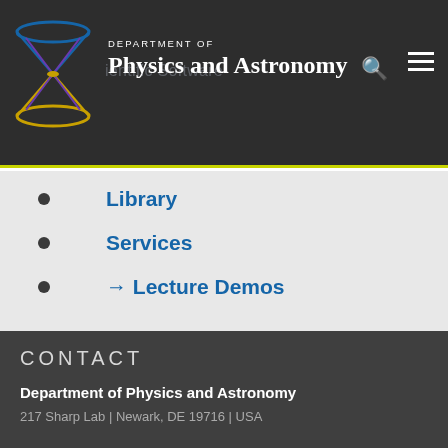DEPARTMENT OF Physics and Astronomy
Library
Services
→ Lecture Demos
CONTACT
Department of Physics and Astronomy
217 Sharp Lab | Newark, DE 19716 | USA